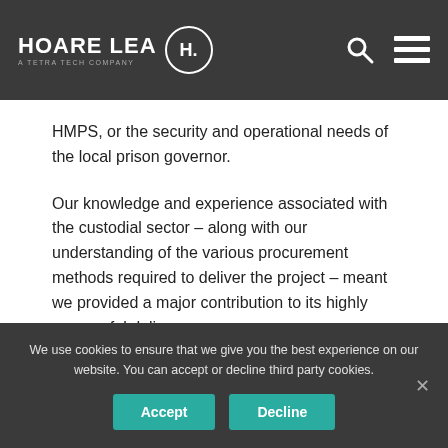HOARE LEA H. A TETRA TECH COMPANY
HMPS, or the security and operational needs of the local prison governor.
Our knowledge and experience associated with the custodial sector – along with our understanding of the various procurement methods required to deliver the project – meant we provided a major contribution to its highly successful delivery.
We use cookies to ensure that we give you the best experience on our website. You can accept or decline third party cookies. Accept Decline